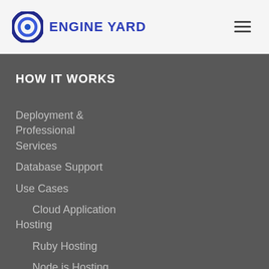[Figure (logo): Engine Yard logo: circular blue/dark blue concentric ring icon with bold blue text ENGINE YARD]
HOW IT WORKS
Deployment & Professional Services
Database Support
Use Cases
Cloud Application Hosting
Ruby Hosting
Node.js Hosting